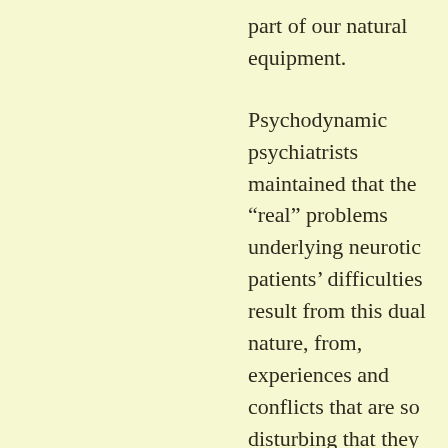part of our natural equipment.
Psychodynamic psychiatrists maintained that the “real” problems underlying neurotic patients’ difficulties result from this dual nature, from, experiences and conflicts that are so disturbing that they are removed